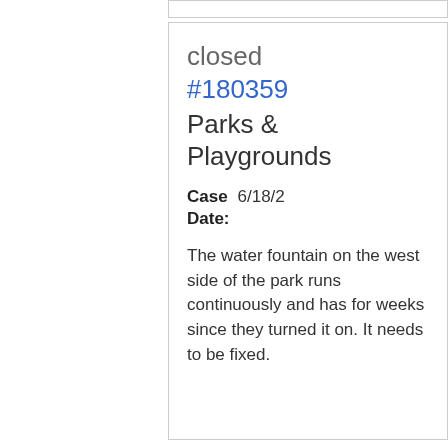closed
#180359
Parks & Playgrounds
Case Date: 6/18/2
The water fountain on the west side of the park runs continuously and has for weeks since they turned it on. It needs to be fixed.